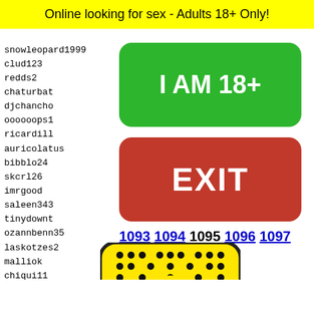Online looking for sex - Adults 18+ Only!
snowleopard1999
clud123
redds2
chaturbat
djchancho
oooooops1
ricardill
auricolatus
bibblo24
skcrl26
imrgood
saleen343
tinydownt
ozannbenn35
laskotzes2
malliok
chiqui11
aamer111
andreas_meridio
frogge
chieft
vadiim
mushro
thiago
elkinr
[Figure (illustration): Green rounded rectangle button with text I AM 18+]
[Figure (illustration): Red rounded rectangle button with text EXIT]
1093 1094 1095 1096 1097
[Figure (illustration): Yellow Snapchat ghost logo with black dots pattern]